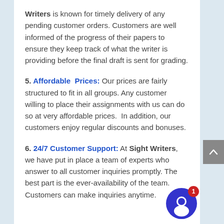Writers is known for timely delivery of any pending customer orders. Customers are well informed of the progress of their papers to ensure they keep track of what the writer is providing before the final draft is sent for grading.
5. Affordable Prices: Our prices are fairly structured to fit in all groups. Any customer willing to place their assignments with us can do so at very affordable prices. In addition, our customers enjoy regular discounts and bonuses.
6. 24/7 Customer Support: At Sight Writers, we have put in place a team of experts who answer to all customer inquiries promptly. The best part is the ever-availability of the team. Customers can make inquiries anytime.